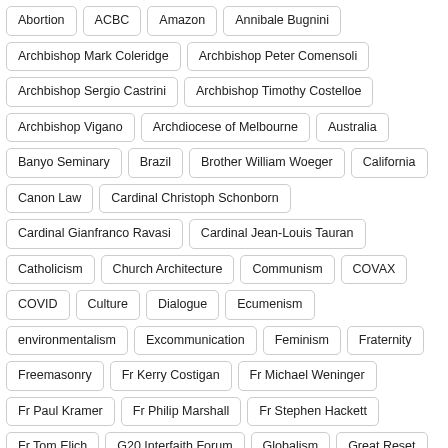Abortion
ACBC
Amazon
Annibale Bugnini
Archbishop Mark Coleridge
Archbishop Peter Comensoli
Archbishop Sergio Castrini
Archbishop Timothy Costelloe
Archbishop Vigano
Archdiocese of Melbourne
Australia
Banyo Seminary
Brazil
Brother William Woeger
California
Canon Law
Cardinal Christoph Schonborn
Cardinal Gianfranco Ravasi
Cardinal Jean-Louis Tauran
Catholicism
Church Architecture
Communism
COVAX
COVID
Culture
Dialogue
Ecumenism
environmentalism
Excommunication
Feminism
Fraternity
Freemasonry
Fr Kerry Costigan
Fr Michael Weninger
Fr Paul Kramer
Fr Philip Marshall
Fr Stephen Hackett
Fr Tom Elich
G20 Interfaith Forum
Globalism
Great Reset
heresy